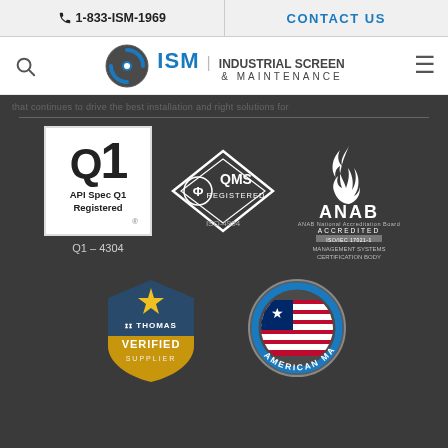1-833-ISM-1969 | CONTACT US
[Figure (logo): ISM Industrial Screen & Maintenance logo with navigation bar]
[faded background text - partially visible]
[Figure (logo): API Spec Q1 Registered badge - Q1-4304]
[Figure (logo): QMS Registered ISO-4954 certification badge]
[Figure (logo): ANAB Accredited - Management Systems Certification Body - ISO/IEC 17021-1]
[Figure (logo): Thomas Verified Supplier badge]
[Figure (logo): American Made circular badge with US flag]